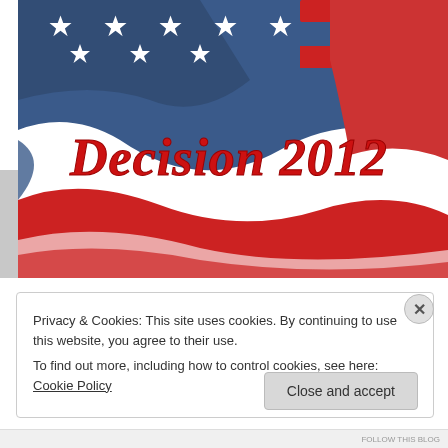[Figure (illustration): Artistic illustration of an American flag with stars and red/white stripes, overlaid with the text 'Decision 2012' in decorative red serif font]
Privacy & Cookies: This site uses cookies. By continuing to use this website, you agree to their use.
To find out more, including how to control cookies, see here: Cookie Policy
Close and accept